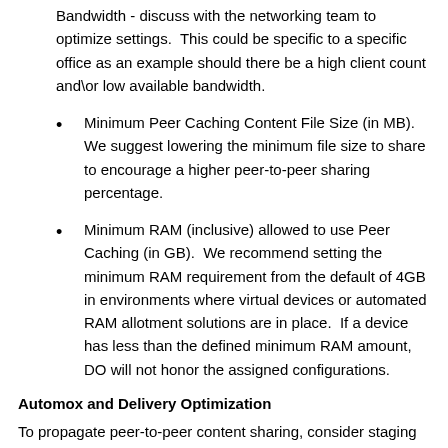Bandwidth - discuss with the networking team to optimize settings.  This could be specific to a specific office as an example should there be a high client count and\or low available bandwidth.
Minimum Peer Caching Content File Size (in MB).  We suggest lowering the minimum file size to share to encourage a higher peer-to-peer sharing percentage.
Minimum RAM (inclusive) allowed to use Peer Caching (in GB).  We recommend setting the minimum RAM requirement from the default of 4GB in environments where virtual devices or automated RAM allotment solutions are in place.  If a device has less than the defined minimum RAM amount, DO will not honor the assigned configurations.
Automox and Delivery Optimization
To propagate peer-to-peer content sharing, consider staging